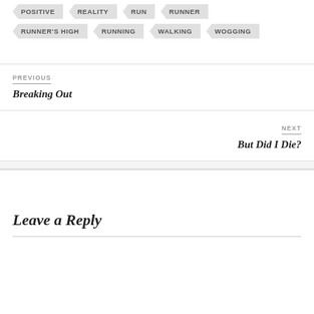POSITIVE   REALITY   RUN   RUNNER
RUNNER'S HIGH   RUNNING   WALKING   WOGGING
PREVIOUS
Breaking Out
NEXT
But Did I Die?
Leave a Reply